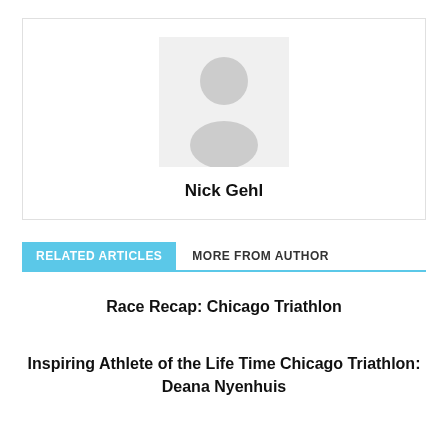[Figure (illustration): Gray placeholder avatar icon showing a silhouette of a person (head and shoulders) on a light gray background, centered within a bordered card.]
Nick Gehl
RELATED ARTICLES   MORE FROM AUTHOR
Race Recap: Chicago Triathlon
Inspiring Athlete of the Life Time Chicago Triathlon: Deana Nyenhuis